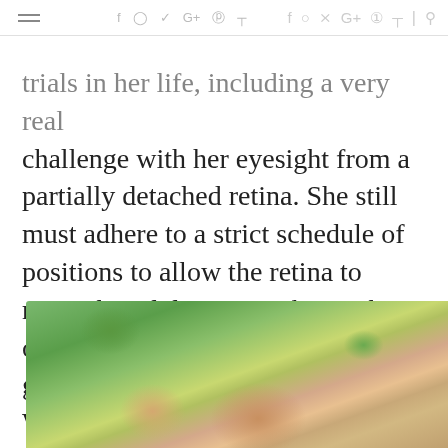[navigation bar with hamburger menu and social icons: f, instagram, twitter, G+, pinterest, rss, search]
trials in her life, including a very real challenge with her eyesight from a partially detached retina. She still must adhere to a strict schedule of positions to allow the retina to reattach and doesn't yet know the outcome. But Chris' faith has been growing through this latest trial. We've been able to talk about what we're each learning.
[Figure (photo): Two women with blonde hair photographed outdoors with trees and pink flowers in the background]